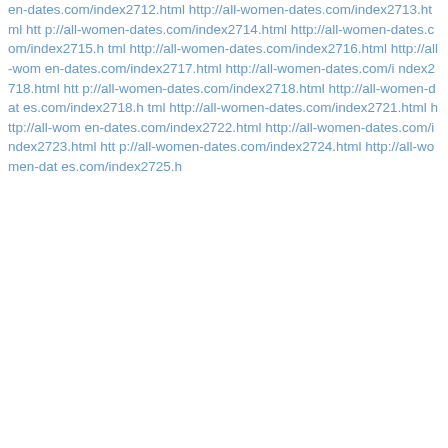en-dates.com/index2712.html http://all-women-dates.com/index2713.html htt p://all-women-dates.com/index2714.html http://all-women-dates.com/index2715.html http://all-women-dates.com/index2716.html http://all-women-dates.com/index2717.html http://all-women-dates.com/index2718.html htt p://all-women-dates.com/index2718.html http://all-women-dates.com/index2718.h tml http://all-women-dates.com/index2721.html http://all-women-dates.com/index2722.html http://all-women-dates.com/index2723.html htt p://all-women-dates.com/index2724.html http://all-women-dates.com/index2725.h